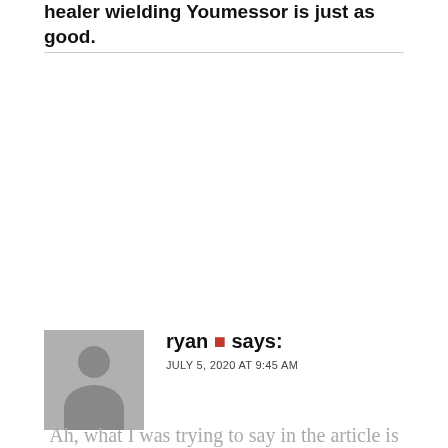healer wielding Youmessor is just as good.
ryan ✦ says:
JULY 5, 2020 AT 9:45 AM
Ah, what I was trying to say in the article is that you could use one of the mystic armor classes to